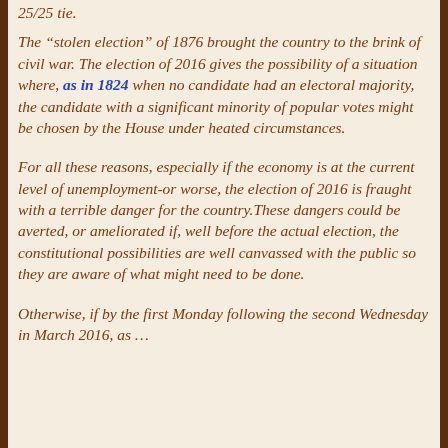25/25 tie.
The "stolen election" of 1876 brought the country to the brink of civil war. The election of 2016 gives the possibility of a situation where, as in 1824 when no candidate had an electoral majority, the candidate with a significant minority of popular votes might be chosen by the House under heated circumstances.
For all these reasons, especially if the economy is at the current level of unemployment-or worse, the election of 2016 is fraught with a terrible danger for the country.These dangers could be averted, or ameliorated if, well before the actual election, the constitutional possibilities are well canvassed with the public so they are aware of what might need to be done.
Otherwise, if by the first Monday following the second Wednesday in March 2016, as ...